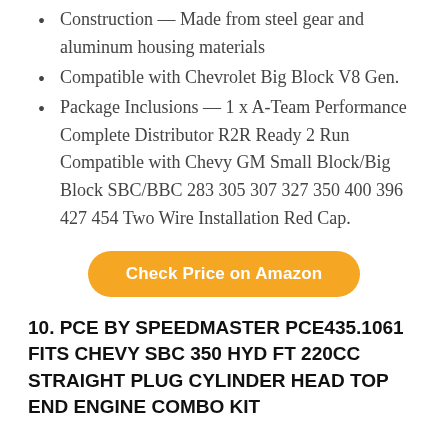Construction — Made from steel gear and aluminum housing materials
Compatible with Chevrolet Big Block V8 Gen.
Package Inclusions — 1 x A-Team Performance Complete Distributor R2R Ready 2 Run Compatible with Chevy GM Small Block/Big Block SBC/BBC 283 305 307 327 350 400 396 427 454 Two Wire Installation Red Cap.
Check Price on Amazon
10. PCE BY SPEEDMASTER PCE435.1061 FITS CHEVY SBC 350 HYD FT 220CC STRAIGHT PLUG CYLINDER HEAD TOP END ENGINE COMBO KIT